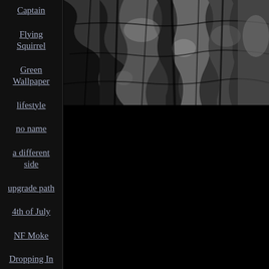Captain
Flying Squirrel
Green Wallpaper
lifestyle
no name
a different side
upgrade path
4th of July
NF Moke
Dropping In
At the river
[Figure (photo): Black and white close-up photograph of tree bark texture, showing rough, cracked, dark bark surface]